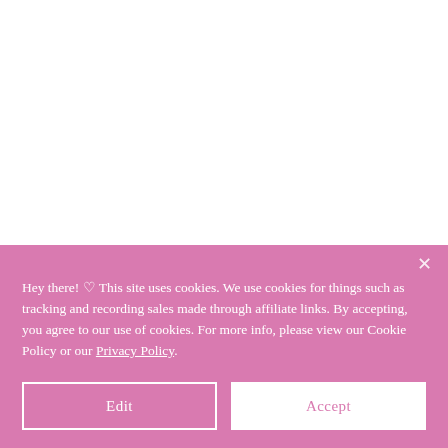Hey there! ♡ This site uses cookies. We use cookies for things such as tracking and recording sales made through affiliate links. By accepting, you agree to our use of cookies. For more info, please view our Cookie Policy or our Privacy Policy.
Edit
Accept